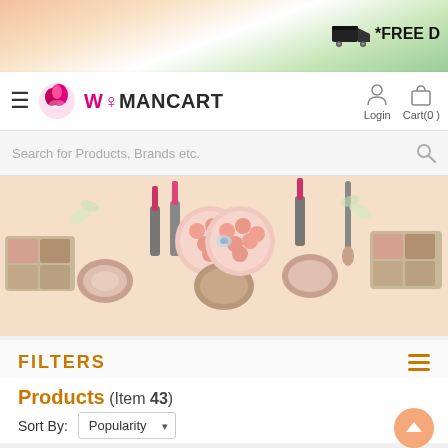[Figure (screenshot): Top banner with Indian flag colors gradient (saffron, white, green)]
*FREE D
[Figure (logo): WomanCart logo with pink woman silhouette icon and bold text WOMANCART]
Login
Cart(0 )
Search for Products, Brands etc.
[Figure (photo): Cosmetics product banner showing eyeshadow palettes, lipsticks, blushers, and makeup brushes arranged symmetrically on peach background]
FILTERS
Products (Item 43)
Sort By: Popularity